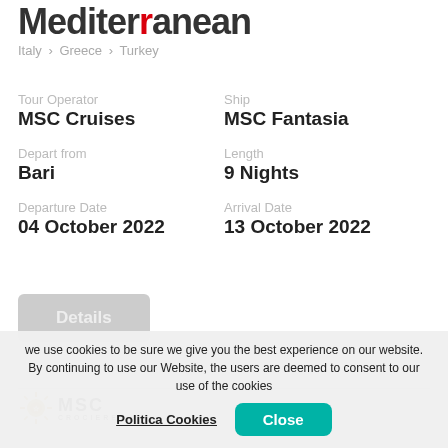Mediterranean
Italy > Greece > Turkey
Tour Operator
MSC Cruises
Ship
MSC Fantasia
Depart from
Bari
Length
9 Nights
Departure Date
04 October 2022
Arrival Date
13 October 2022
[Figure (other): MSC Crociere logo with sun emblem]
we use cookies to be sure we give you the best experience on our website. By continuing to use our Website, the users are deemed to consent to our use of the cookies
Politica Cookies
Close